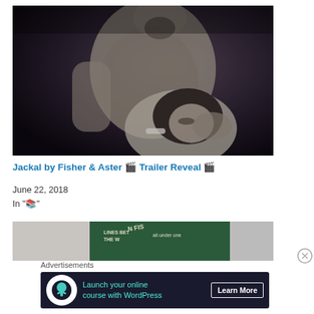[Figure (photo): Black and white romantic/dramatic photo of a shirtless man and a woman with dark hair, his hand near her face]
Jackal by Fisher & Aster 🎬 Trailer Reveal 🎬
June 22, 2018
In "📚"
[Figure (photo): Partial book cover image with dark green background and text fragments]
Advertisements
[Figure (infographic): Dark navy advertisement banner: Launch your online course with WordPress — Learn More button, with tree/person icon]